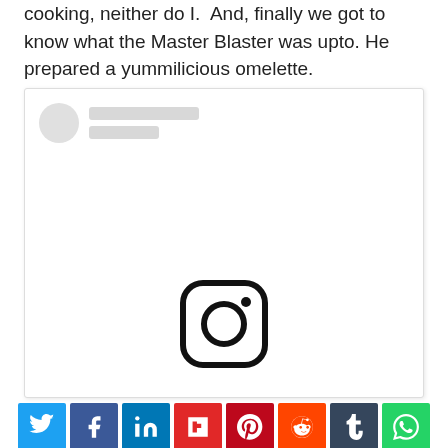cooking, neither do I.  And, finally we got to know what the Master Blaster was upto. He prepared a yummilicious omelette.
[Figure (screenshot): Instagram embed placeholder showing a circular avatar placeholder, two grey loading bars for username/handle, and a large Instagram camera icon in the center of the embed box.]
[Figure (infographic): Social media sharing buttons row: Twitter (blue), Facebook (dark blue), LinkedIn (blue), Flipboard (red), Pinterest (dark red), Reddit (orange), Tumblr (dark navy), WhatsApp (green), and a dark share button below center.]